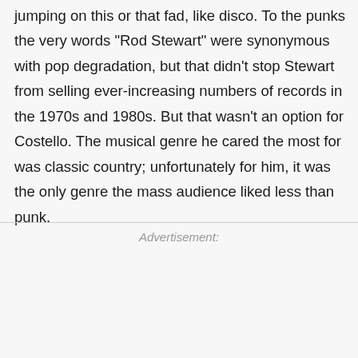jumping on this or that fad, like disco. To the punks the very words "Rod Stewart" were synonymous with pop degradation, but that didn't stop Stewart from selling ever-increasing numbers of records in the 1970s and 1980s. But that wasn't an option for Costello. The musical genre he cared the most for was classic country; unfortunately for him, it was the only genre the mass audience liked less than punk.
Advertisement: